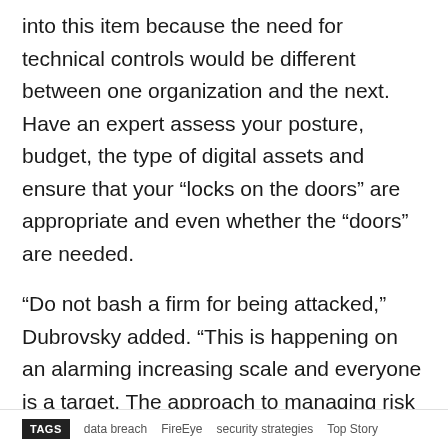into this item because the need for technical controls would be different between one organization and the next. Have an expert assess your posture, budget, the type of digital assets and ensure that your “locks on the doors” are appropriate and even whether the “doors” are needed.
“Do not bash a firm for being attacked,” Dubrovsky added. “This is happening on an alarming increasing scale and everyone is a target. The approach to managing risk should not change, unless an organization is spending far too little on security their digital assets.”
TAGS   data breach   FireEye   security strategies   Top Story